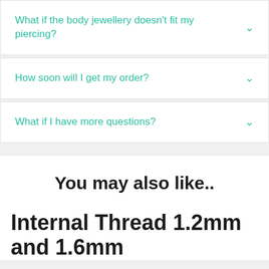What if the body jewellery doesn't fit my piercing?
How soon will I get my order?
What if I have more questions?
You may also like..
Internal Thread 1.2mm and 1.6mm